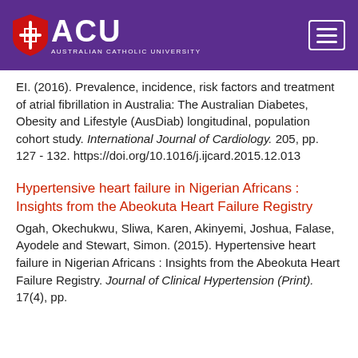ACU Australian Catholic University
EI. (2016). Prevalence, incidence, risk factors and treatment of atrial fibrillation in Australia: The Australian Diabetes, Obesity and Lifestyle (AusDiab) longitudinal, population cohort study. International Journal of Cardiology. 205, pp. 127 - 132. https://doi.org/10.1016/j.ijcard.2015.12.013
Hypertensive heart failure in Nigerian Africans : Insights from the Abeokuta Heart Failure Registry
Ogah, Okechukwu, Sliwa, Karen, Akinyemi, Joshua, Falase, Ayodele and Stewart, Simon. (2015). Hypertensive heart failure in Nigerian Africans : Insights from the Abeokuta Heart Failure Registry. Journal of Clinical Hypertension (Print). 17(4), pp.